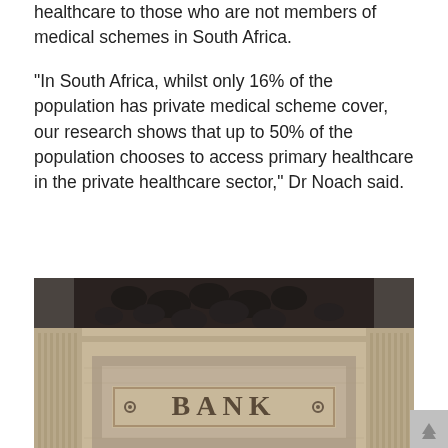healthcare to those who are not members of medical schemes in South Africa.
“In South Africa, whilst only 16% of the population has private medical scheme cover, our research shows that up to 50% of the population chooses to access primary healthcare in the private healthcare sector,” Dr Noach said.
[Figure (photo): Photograph of the facade of a classical bank building showing stone columns and a carved frieze above a recessed entryway with a stone sign reading 'BANK' with decorative bullet points on either side.]